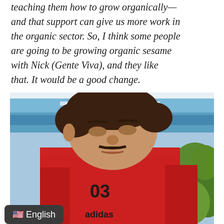teaching them how to grow organically—and that support can give us more work in the organic sector. So, I think some people are going to be growing organic sesame with Nick (Gente Viva), and they like that. It would be a good change.
[Figure (photo): A young man wearing a red Adidas t-shirt with number 03, looking down, photographed outdoors under a blue tarp/canopy with green foliage visible in the background.]
🇺🇸 English